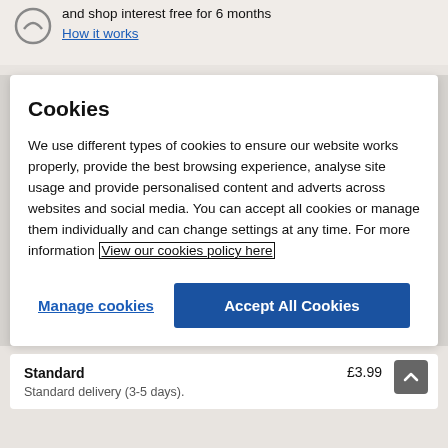and shop interest free for 6 months
How it works
Cookies
We use different types of cookies to ensure our website works properly, provide the best browsing experience, analyse site usage and provide personalised content and adverts across websites and social media. You can accept all cookies or manage them individually and can change settings at any time. For more information View our cookies policy here
Manage cookies
Accept All Cookies
Standard
£3.99
Standard delivery (3-5 days).